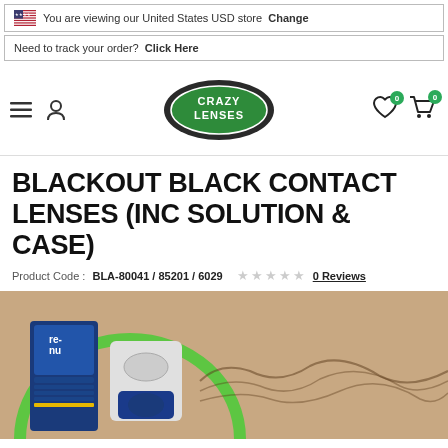You are viewing our United States USD store Change
Need to track your order? Click Here
[Figure (logo): Crazy Lenses logo — green eye-shaped oval with white text CRAZY LENSES]
BLACKOUT BLACK CONTACT LENSES (INC SOLUTION & CASE)
Product Code: BLA-80041 / 85201 / 6029  ★★★★★ 0 Reviews
[Figure (photo): Product photo showing re-nu solution bottle, contact lens case, and close-up of a person's eye/forehead with green circle element]